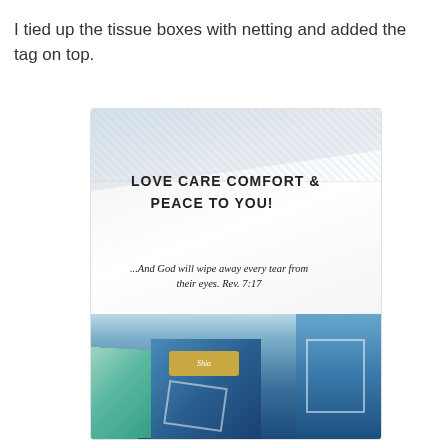I tied up the tissue boxes with netting and added the tag on top.
[Figure (photo): Close-up photo of tissue boxes wrapped in netting with a handwritten tag on top that reads 'LOVE CARE COMFORT & PEACE TO YOU!' and a scripture quote '...And God will wipe away every tear from their eyes. Rev. 7:17'. The tissue boxes below are teal and blue colored (appears to be Puffs brand).]